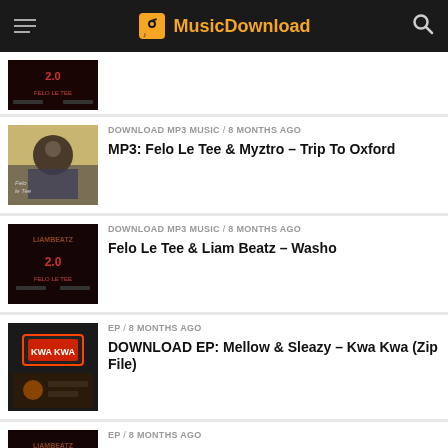MusicDownload
[Figure (screenshot): Partially visible album thumbnail - Washo 2.0 by Felo Le Tee, dark red background]
DOWNLOAD MP3 MUSIC / 8 months ago
MP3: Felo Le Tee & Myztro – Trip To Oxford
DOWNLOAD MP3 MUSIC / 8 months ago
Felo Le Tee & Liam Beatz – Washo
EP / 8 months ago
DOWNLOAD EP: Mellow & Sleazy – Kwa Kwa (Zip File)
EP / 8 months ago
DOWNLOAD ALBUM: Felo Le Tee & Liam Beatz – Washo 2.0 EP (ZIP)